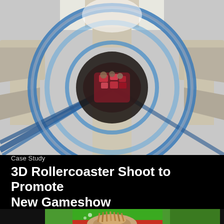[Figure (photo): Overhead shot looking down through a looping roller coaster track with blue rails and a spiral tube structure. Riders are visible hanging upside down in the center loop. The structure has beige/cream colored support columns with wing-like decorative elements.]
Case Study
3D Rollercoaster Shoot to Promote New Gameshow
[Figure (photo): Partial image showing a person holding something in their hands outdoors, with green scenery and a red and green building structure visible in the background.]